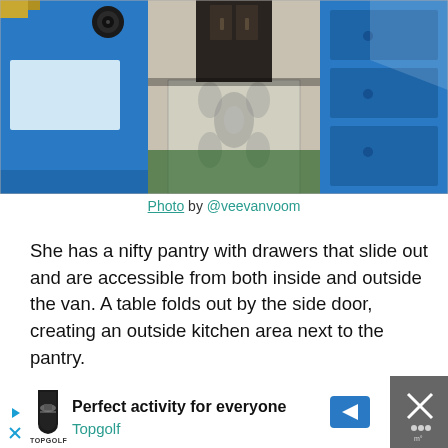[Figure (photo): Interior of a van conversion with blue panels on the sides, a dark wooden cabinet/door in the center background, and a decorative black and white patterned rug on the floor. The van interior shows storage cabinets on the right side and the view is looking toward the rear of the van.]
Photo by @veevanvoom
She has a nifty pantry with drawers that slide out and are accessible from both inside and outside the van. A table folds out by the side door, creating an outside kitchen area next to the pantry.
[Figure (screenshot): Advertisement banner for Topgolf: 'Perfect activity for everyone' with Topgolf logo and navigation arrow icon. Black background on right side with X close button.]